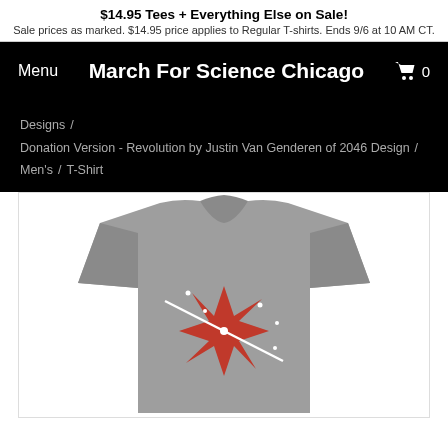$14.95 Tees + Everything Else on Sale! Sale prices as marked. $14.95 price applies to Regular T-shirts. Ends 9/6 at 10 AM CT.
Menu   March For Science Chicago   0
Designs / Donation Version - Revolution by Justin Van Genderen of 2046 Design / Men's / T-Shirt
[Figure (photo): Gray men's T-shirt with a red 8-pointed star (Chicago flag star design) and white diagonal line/needle graphic on the chest, displayed on a white background.]